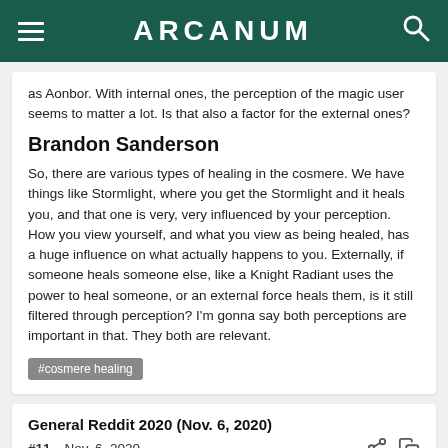ARCANUM
as Aonbor. With internal ones, the perception of the magic user seems to matter a lot. Is that also a factor for the external ones?
Brandon Sanderson
So, there are various types of healing in the cosmere. We have things like Stormlight, where you get the Stormlight and it heals you, and that one is very, very influenced by your perception. How you view yourself, and what you view as being healed, has a huge influence on what actually happens to you. Externally, if someone heals someone else, like a Knight Radiant uses the power to heal someone, or an external force heals them, is it still filtered through perception? I'm gonna say both perceptions are important in that. They both are relevant.
#cosmere healing
General Reddit 2020 (Nov. 6, 2020)
#11   Nov. 6, 2020
HazelCharm47